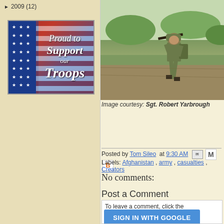► 2009 (12)
[Figure (illustration): Proud to Support our Troops banner with American flag background and stars]
[Figure (photo): Soldier in combat gear walking through a field]
Image courtesy: Sgt. Robert Yarbrough
Posted by Tom Sileo at 9:30 AM
Labels: Afghanistan , army , casualties , Creators
No comments:
Post a Comment
To leave a comment, click the Google.
SIGN IN WITH GOOGLE